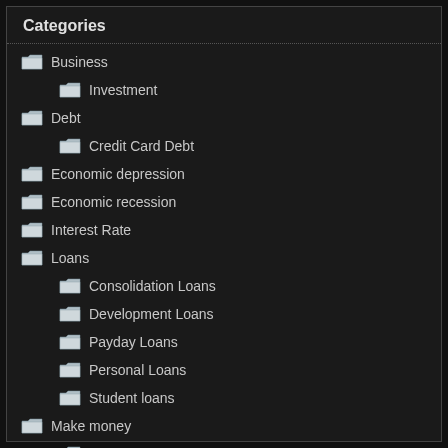Categories
Business
Investment
Debt
Credit Card Debt
Economic depression
Economic recession
Interest Rate
Loans
Consolidation Loans
Development Loans
Payday Loans
Personal Loans
Student loans
Make money
Wealth
Medical Care
Mortgage
Tax